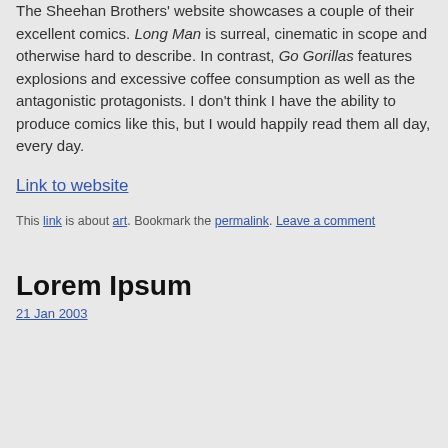The Sheehan Brothers' website showcases a couple of their excellent comics. Long Man is surreal, cinematic in scope and otherwise hard to describe. In contrast, Go Gorillas features explosions and excessive coffee consumption as well as the antagonistic protagonists. I don't think I have the ability to produce comics like this, but I would happily read them all day, every day.
Link to website
This link is about art. Bookmark the permalink. Leave a comment
Lorem Ipsum
21 Jan 2003